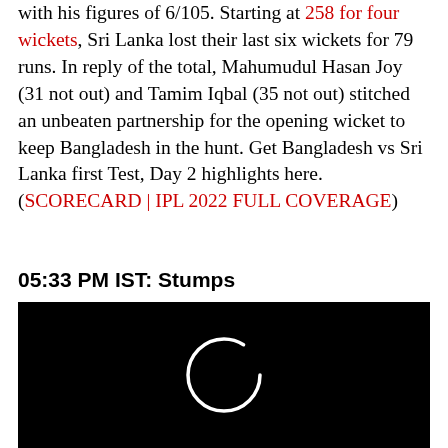with his figures of 6/105. Starting at 258 for four wickets, Sri Lanka lost their last six wickets for 79 runs. In reply of the total, Mahumudul Hasan Joy (31 not out) and Tamim Iqbal (35 not out) stitched an unbeaten partnership for the opening wicket to keep Bangladesh in the hunt. Get Bangladesh vs Sri Lanka first Test, Day 2 highlights here. (SCORECARD | IPL 2022 FULL COVERAGE)
05:33 PM IST: Stumps
[Figure (photo): Black video player with a white loading spinner circle in the center]